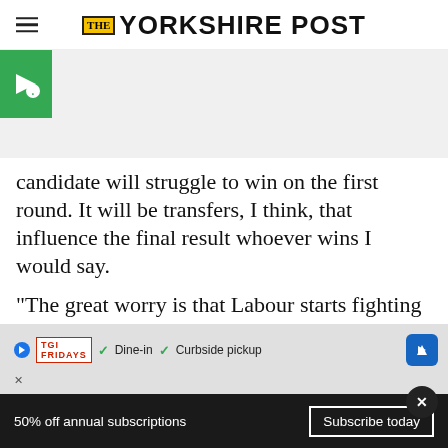The Yorkshire Post
[Figure (other): Gray image placeholder area with a green badge containing a white triangular/arrow logo in the upper left corner]
candidate will struggle to win on the first round. It will be transfers, I think, that influence the final result whoever wins I would say.
“The great worry is that Labour starts fighting itself coming out of this if there is a feeling one side of the party has won over the oth...
[Figure (other): Advertisement banner: TGI Fridays logo with Dine-in and Curbside pickup checkmarks, and navigation arrow]
50% off annual subscriptions  Subscribe today